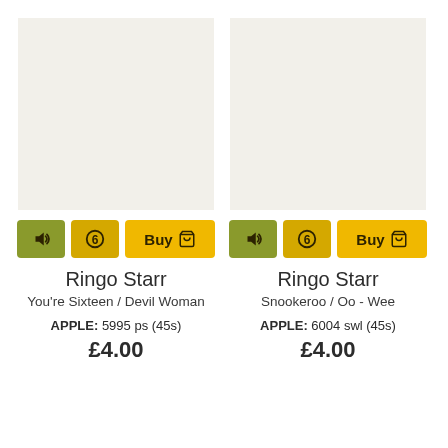[Figure (photo): Blank cream/off-white record cover placeholder for Ringo Starr - You're Sixteen / Devil Woman]
Ringo Starr
You're Sixteen / Devil Woman
APPLE: 5995 ps (45s)
£4.00
[Figure (photo): Blank cream/off-white record cover placeholder for Ringo Starr - Snookeroo / Oo - Wee]
Ringo Starr
Snookeroo / Oo - Wee
APPLE: 6004 swl (45s)
£4.00